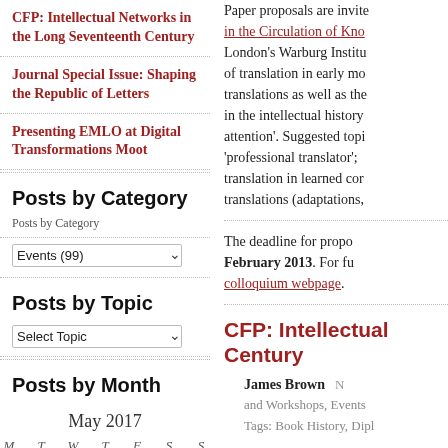CFP: Intellectual Networks in the Long Seventeenth Century
Journal Special Issue: Shaping the Republic of Letters
Presenting EMLO at Digital Transformations Moot
Posts by Category
Posts by Category
Events  (99)
Posts by Topic
Select Topic
Posts by Month
May 2017
M  T  W  T  F  S  S
Paper proposals are invited in the Circulation of Know... London's Warburg Institu... of translation in early mo... translations as well as the... in the intellectual history ... attention'. Suggested topi... 'professional translator'; ... translation in learned cor... translations (adaptations,
The deadline for propo... February 2013. For fu... colloquium webpage.
CFP: Intellectual ... Century
James Brown
and Workshops, Events
Tags: Book History, Dipl...